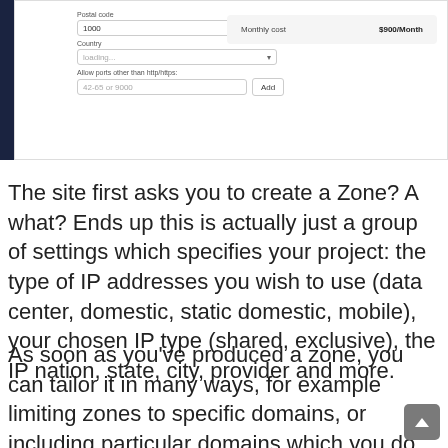[Figure (screenshot): UI screenshot showing a web form with fields: Postal code (value: 1000), Country (loading dropdown), Allow ports other than http/https (port input with Add button). On the right, a cost panel showing Monthly cost: $900/Month on a gray background.]
The site first asks you to create a Zone? A what? Ends up this is actually just a group of settings which specifies your project: the type of IP addresses you wish to use (data center, domestic, static domestic, mobile), your chosen IP type (shared, exclusive), the IP nation, state, city, provider and more.
As soon as you've produced a zone, you can tailor it in many ways, for example limiting zones to specific domains, or including particular domains which you do not wish to tar